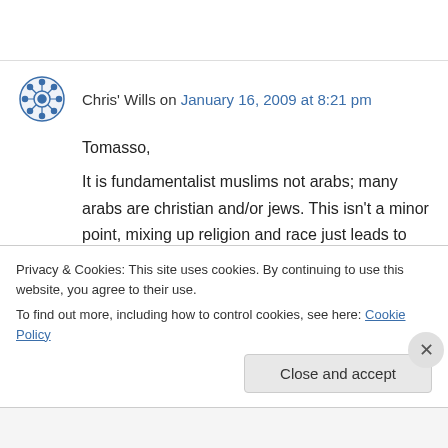Chris' Wills on January 16, 2009 at 8:21 pm
Tomasso,

It is fundamentalist muslims not arabs; many arabs are christian and/or jews. This isn't a minor point, mixing up religion and race just leads to confusion.
Privacy & Cookies: This site uses cookies. By continuing to use this website, you agree to their use.
To find out more, including how to control cookies, see here: Cookie Policy